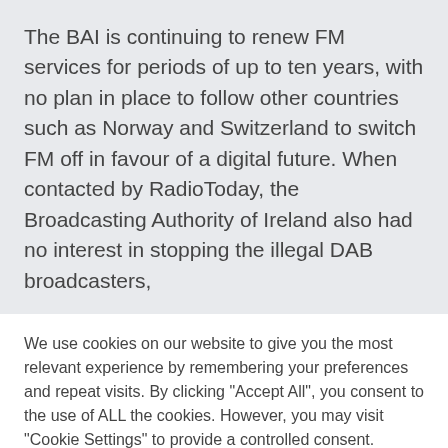The BAI is continuing to renew FM services for periods of up to ten years, with no plan in place to follow other countries such as Norway and Switzerland to switch FM off in favour of a digital future. When contacted by RadioToday, the Broadcasting Authority of Ireland also had no interest in stopping the illegal DAB broadcasters,
We use cookies on our website to give you the most relevant experience by remembering your preferences and repeat visits. By clicking "Accept All", you consent to the use of ALL the cookies. However, you may visit "Cookie Settings" to provide a controlled consent. Cookies are also used for Google Ads personalisation. See more on our Privacy page here.